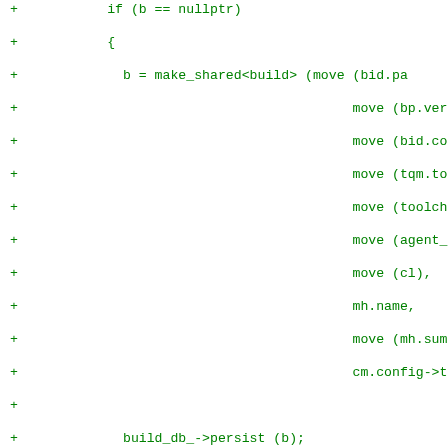[Figure (other): Source code diff showing C++ code with green '+' markers indicating added lines. Code includes a conditional block (if b == nullptr), object construction with make_shared<build> and multiple move() arguments, build_db_->persist(b) call, an else branch with comments about package configuration and results handling, and a build_db_->load call.]